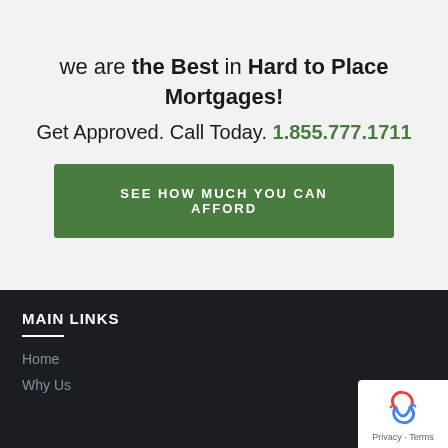we are the Best in Hard to Place Mortgages!
Get Approved. Call Today. 1.855.777.1711
SEE HOW MUCH YOU CAN AFFORD
MAIN LINKS
Home
Why Us